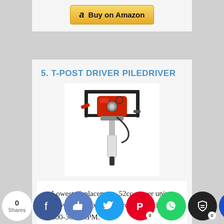[Figure (other): Buy on Amazon button at top of page]
5. T-POST DRIVER PILEDRIVER
[Figure (photo): T-Post Driver Piledriver product photo showing a gas-powered post driver with red engine, black frame handles, and silver/white cylinder shaft]
Lowest displacement, 52cc power unit allows for maximum force, approximately 800-3000 RPM.